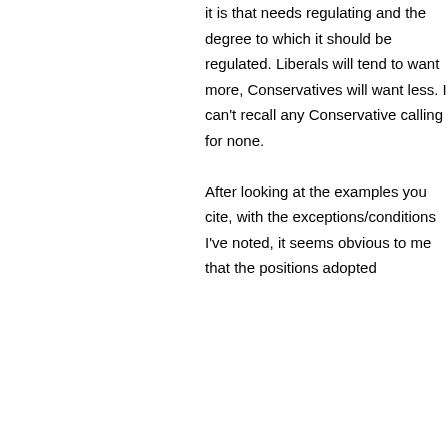it is that needs regulating and the degree to which it should be regulated. Liberals will tend to want more, Conservatives will want less. I can't recall any Conservative calling for none.

After looking at the examples you cite, with the exceptions/conditions I've noted, it seems obvious to me that the positions adopted